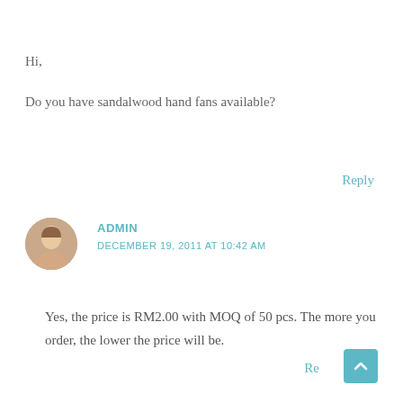Hi,
Do you have sandalwood hand fans available?
Reply
ADMIN
DECEMBER 19, 2011 AT 10:42 AM
Yes, the price is RM2.00 with MOQ of 50 pcs. The more you order, the lower the price will be.
Reply